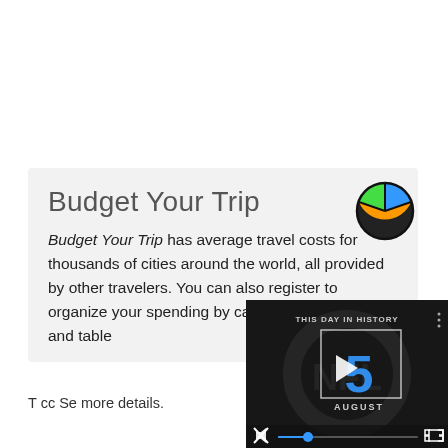Budget Your Trip
Budget Your Trip has average travel costs for thousands of cities around the world, all provided by other travelers. You can also register to organize your spending by category and charts, and table
more details.
[Figure (screenshot): Video player overlay showing 'THIS DAY IN HISTORY' with number 5, AUGUST, NFL background, play button, mute icon, blue progress dot, and fullscreen icon]